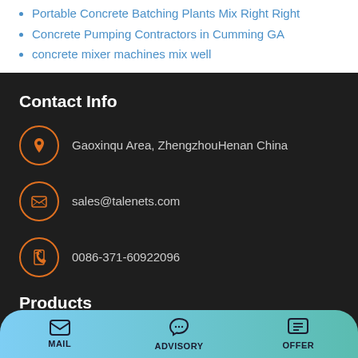Portable Concrete Batching Plants Mix Right Right
Concrete Pumping Contractors in Cumming GA
concrete mixer machines mix well
Contact Info
Gaoxinqu Area, ZhengzhouHenan China
sales@talenets.com
0086-371-60922096
Products
concrete mixer pump
MAIL   ADVISORY   OFFER